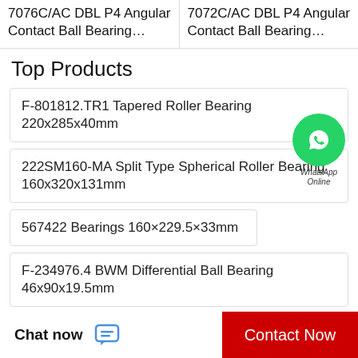7076C/AC DBL P4 Angular Contact Ball Bearing…
7072C/AC DBL P4 Angular Contact Ball Bearing…
Top Products
F-801812.TR1 Tapered Roller Bearing 220x285x40mm
222SM160-MA Split Type Spherical Roller Bearing 160x320x131mm
567422 Bearings 160×229.5×33mm
F-234976.4 BWM Differential Ball Bearing 46x90x19.5mm
[Figure (illustration): WhatsApp Online green circle button with phone icon and label 'WhatsApp Online']
Chat now
Contact Now